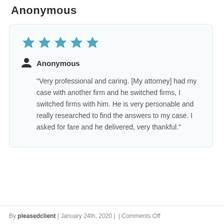Anonymous
★★★★★ (5 stars)
Anonymous
"Very professional and caring. [My attorney] had my case with another firm and he switched firms, I switched firms with him. He is very personable and really researched to find the answers to my case. I asked for fare and he delivered, very thankful."
By pleasedclient | January 24th, 2020 |  | Comments Off